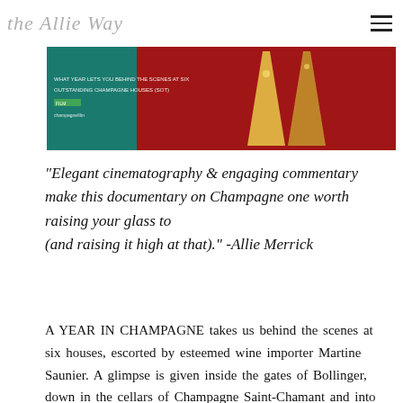the Allie Way
[Figure (photo): Hero image from 'A Year in Champagne' documentary — red background with champagne flutes and text overlay on teal/green left portion]
"Elegant cinematography & engaging commentary make this documentary on Champagne one worth raising your glass to (and raising it high at that)." -Allie Merrick
A YEAR IN CHAMPAGNE takes us behind the scenes at six houses, escorted by esteemed wine importer Martine Saunier. A glimpse is given inside the gates of Bollinger, down in the cellars of Champagne Saint-Chamant and into the lives of a few special winemakers, such as Jacques Diebolt, Stephane